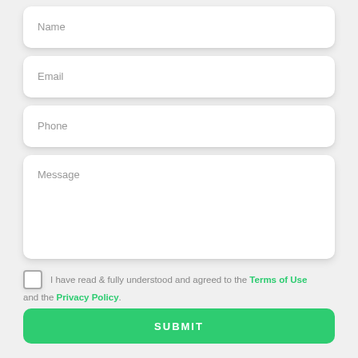Name
Email
Phone
Message
I have read & fully understood and agreed to the Terms of Use and the Privacy Policy.
SUBMIT